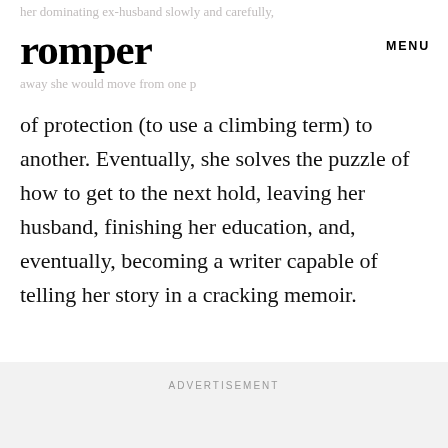her dominating ex-husband slowly and carefully, romper, away she would move from one MENU
of protection (to use a climbing term) to another. Eventually, she solves the puzzle of how to get to the next hold, leaving her husband, finishing her education, and, eventually, becoming a writer capable of telling her story in a cracking memoir.
ADVERTISEMENT